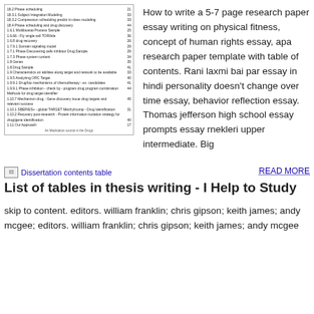[Figure (table-as-image): Table of contents from a document/thesis, showing numbered sections and page numbers in small text]
How to write a 5-7 page research paper essay writing on physical fitness, concept of human rights essay, apa research paper template with table of contents. Rani laxmi bai par essay in hindi personality doesn't change over time essay, behavior reflection essay. Thomas jefferson high school essay prompts essay rnekleri upper intermediate. Big
[Figure (other): Broken image placeholder for Dissertation contents table]
Dissertation contents table
READ MORE
List of tables in thesis writing - I Help to Study
skip to content. editors. william franklin; chris gipson; keith james; andy mcgee; editors. william franklin; chris gipson; keith james; andy mcgee